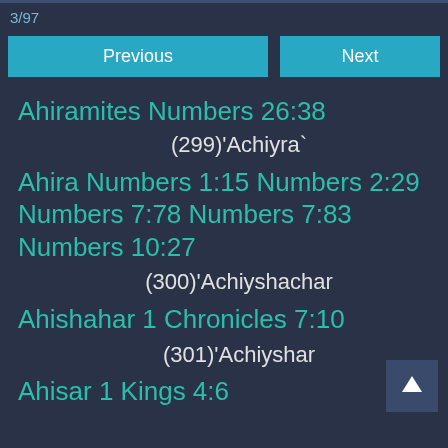3/97
Previous   Next
Ahiramites Numbers 26:38
(299)'Achiyra`
Ahira Numbers 1:15 Numbers 2:29 Numbers 7:78 Numbers 7:83 Numbers 10:27
(300)'Achiyshachar
Ahishahar 1 Chronicles 7:10
(301)'Achiyshar
Ahisar 1 Kings 4:6